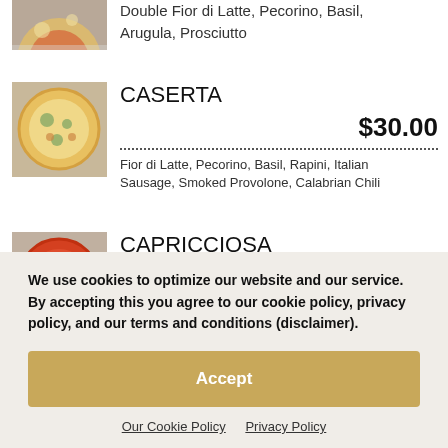[Figure (photo): Partial view of a pizza dish from above, top of page cropped]
Double Fior di Latte, Pecorino, Basil, Arugula, Prosciutto
[Figure (photo): Photo of CASERTA pizza on a plate]
CASERTA
$30.00
Fior di Latte, Pecorino, Basil, Rapini, Italian Sausage, Smoked Provolone, Calabrian Chili
[Figure (photo): Photo of CAPRICCIOSA pizza on a plate]
CAPRICCIOSA
$30.00
Tomato, Fior di Latte, Pecorino, Basil,
We use cookies to optimize our website and our service. By accepting this you agree to our cookie policy, privacy policy, and our terms and conditions (disclaimer).
Accept
Our Cookie Policy   Privacy Policy